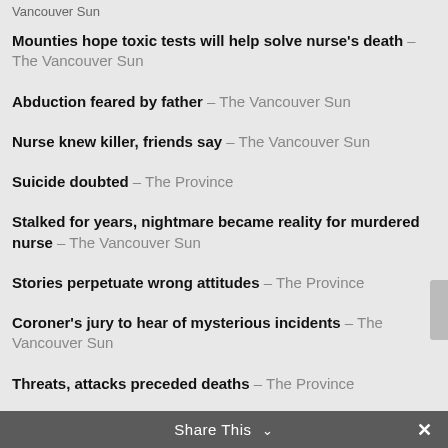Vancouver Sun
Mounties hope toxic tests will help solve nurse's death – The Vancouver Sun
Abduction feared by father – The Vancouver Sun
Nurse knew killer, friends say – The Vancouver Sun
Suicide doubted – The Province
Stalked for years, nightmare became reality for murdered nurse – The Vancouver Sun
Stories perpetuate wrong attitudes – The Province
Coroner's jury to hear of mysterious incidents – The Vancouver Sun
Threats, attacks preceded deaths – The Province
Share This ∨  ✕